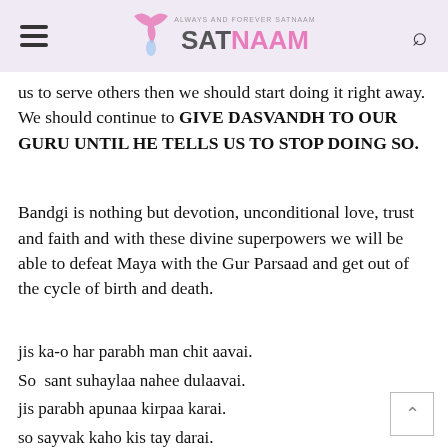ALWAYS AND FOREVER SATNAAM SATNAAM
us to serve others then we should start doing it right away. We should continue to GIVE DASVANDH TO OUR GURU UNTIL HE TELLS US TO STOP DOING SO.
Bandgi is nothing but devotion, unconditional love, trust and faith and with these divine superpowers we will be able to defeat Maya with the Gur Parsaad and get out of the cycle of birth and death.
jis ka-o har parabh man chit aavai.
So  sant suhaylaa nahee dulaavai.
jis parabh apunaa kirpaa karai.
so sayvak kaho kis tay darai.
jaisaa saa taisaa daristaa-i-aa.